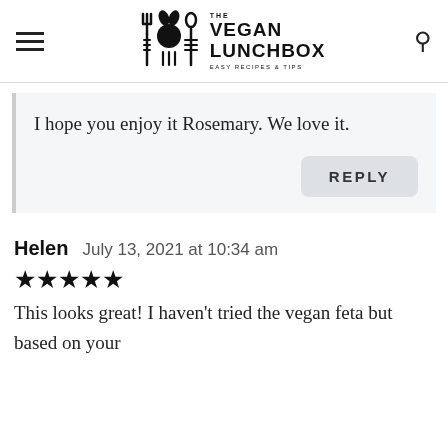THE VEGAN LUNCHBOX — EASY RECIPES & TIPS
I hope you enjoy it Rosemary. We love it.
REPLY
Helen   July 13, 2021 at 10:34 am
★★★★★
This looks great! I haven't tried the vegan feta but based on your